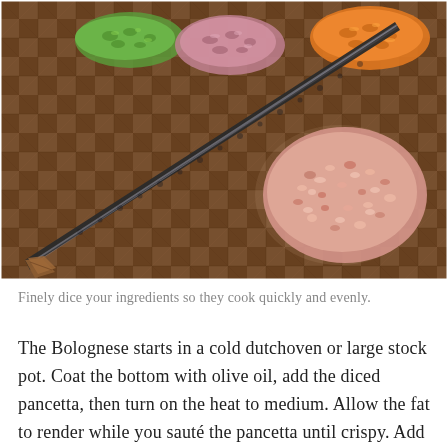[Figure (photo): A Japanese chef's knife with a dark hammered blade and wooden handle resting diagonally on an end-grain wood cutting board. In the background are piles of finely diced ingredients: green celery, purple shallots, orange carrots, and pink diced pancetta.]
Finely dice your ingredients so they cook quickly and evenly.
The Bolognese starts in a cold dutchoven or large stock pot. Coat the bottom with olive oil, add the diced pancetta, then turn on the heat to medium. Allow the fat to render while you sauté the pancetta until crispy. Add the mirepoix of shallots, carrots, and celery